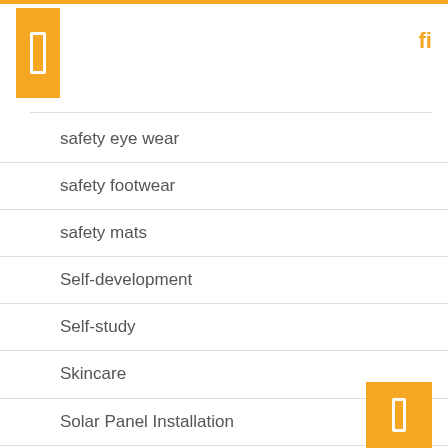safety eye wear
safety footwear
safety mats
Self-development
Self-study
Skincare
Solar Panel Installation
Spas
Stock market